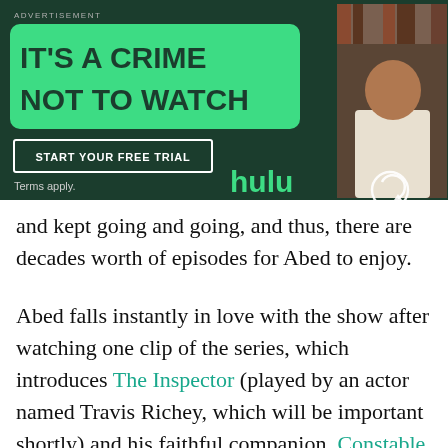[Figure (infographic): Hulu advertisement banner with dark green background. Left side shows bold headline 'IT'S A CRIME NOT TO WATCH' in green rounded box, a 'START YOUR FREE TRIAL' button, 'Terms apply.' text, and 'hulu' logo in green. Right side shows a photo of a young man in a library holding a small object.]
and kept going and going, and thus, there are decades worth of episodes for Abed to enjoy.
Abed falls instantly in love with the show after watching one clip of the series, which introduces The Inspector (played by an actor named Travis Richey, which will be important shortly) and his faithful companion, Constable Reggie (Derwin Jordan). The parallels to Doctor Who are not exactly subtle, from the riff on the Doctor's iconic nemesis the menacing Daleks (though the